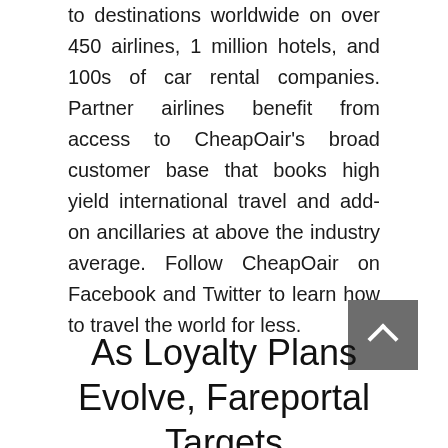to destinations worldwide on over 450 airlines, 1 million hotels, and 100s of car rental companies. Partner airlines benefit from access to CheapOair's broad customer base that books high yield international travel and add-on ancillaries at above the industry average. Follow CheapOair on Facebook and Twitter to learn how to travel the world for less.
As Loyalty Plans Evolve, Fareportal Targets